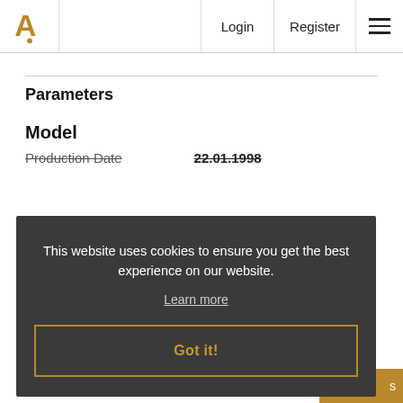Login  Register
Parameters
Model
Production Date   22.01.1998
This website uses cookies to ensure you get the best experience on our website.
Learn more
Got it!
not sold / reserve not met €   s